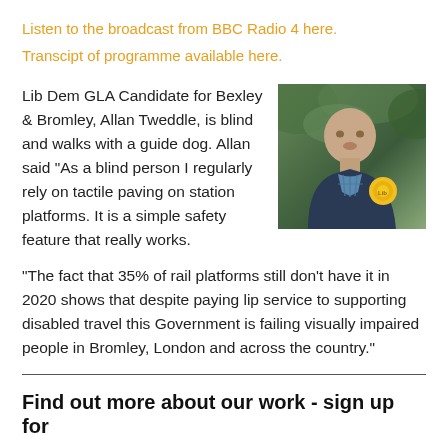Listen to the broadcast from BBC Radio 4 here.
Transcipt of programme available here.
Lib Dem GLA Candidate for Bexley & Bromley, Allan Tweddle, is blind and walks with a guide dog. Allan said "As a blind person I regularly rely on tactile paving on station platforms. It is a simple safety feature that really works.
[Figure (photo): Photo of Allan Tweddle, a middle-aged man wearing a navy jacket and plaid shirt, with a yellow Liberal Democrat rosette, outdoors with green trees in background.]
"The fact that 35% of rail platforms still don't have it in 2020 shows that despite paying lip service to supporting disabled travel this Government is failing visually impaired people in Bromley, London and across the country."
Find out more about our work - sign up for